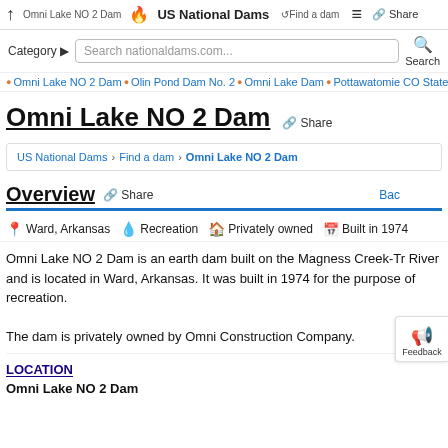Omni Lake NO 2 Dam | US National Dams | Find a dam | Share
Category ▶ Search nationaldams.com... Search
Omni Lake NO 2 Dam | Olin Pond Dam No. 2 | Omni Lake Dam | Pottawatomie CO State La...
Omni Lake NO 2 Dam Share
US National Dams > Find a dam > Omni Lake NO 2 Dam
Overview Share Back
Ward, Arkansas   Recreation   Privately owned   Built in 1974
Omni Lake NO 2 Dam is an earth dam built on the Magness Creek-Tr River and is located in Ward, Arkansas. It was built in 1974 for the purpose of recreation.

The dam is privately owned by Omni Construction Company.
LOCATION
Omni Lake NO 2 Dam